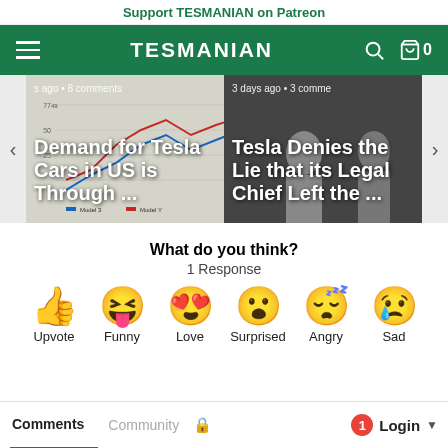Support TESMANIAN on Patreon
TESMANIAN
[Figure (screenshot): Carousel slide 1: Line chart background with headline 'Demand for Tesla Cars in US is Through ...' and meta 's ago • 8 comments']
[Figure (screenshot): Carousel slide 2: Photo of two people with headline 'Tesla Denies the Lie that its Legal Chief Left the ...' and meta '3 days ago • 3 comments']
What do you think?
1 Response
[Figure (infographic): Emoji reaction row: Upvote (thumbs up), Funny (laughing face), Love (heart eyes), Surprised (wow face), Angry (sleeping/drool face), Sad (crying face)]
Comments  Community  Login